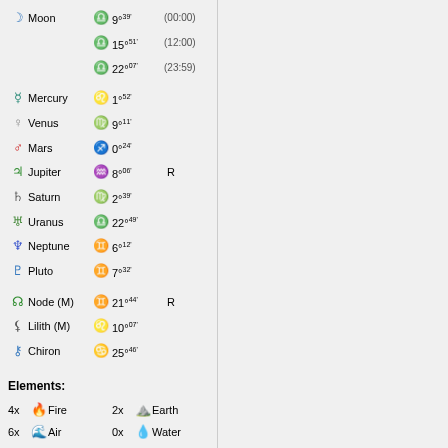| Symbol | Planet | Sign | Degree | Time/Flag |
| --- | --- | --- | --- | --- |
| ☽ | Moon | ♎ | 9°39' | (00:00) |
|  |  | ♎ | 15°51' | (12:00) |
|  |  | ♎ | 22°07' | (23:59) |
| ☿ | Mercury | ♌ | 1°52' |  |
| ♀ | Venus | ♍ | 9°11' |  |
| ♂ | Mars | ♐ | 0°24' |  |
| ♃ | Jupiter | ♒ | 8°06' | R |
| ♄ | Saturn | ♍ | 2°39' |  |
| ♅ | Uranus | ♎ | 22°49' |  |
| ♆ | Neptune | ♊ | 6°12' |  |
| ♇ | Pluto | ♊ | 7°32' |  |
| ☊ | Node (M) | ♊ | 21°44' | R |
| ⚸ | Lilith (M) | ♌ | 10°07' |  |
| ⚷ | Chiron | ♋ | 25°46' |  |
Elements:
4x Fire   2x Earth
6x Air    0x Water